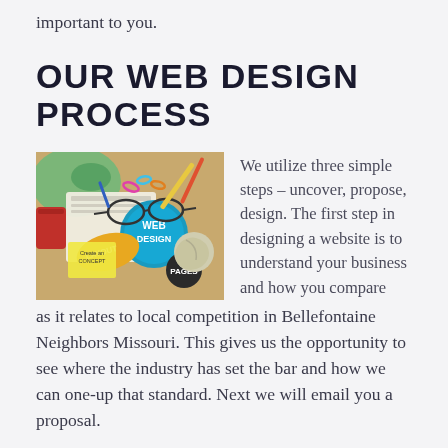important to you.
OUR WEB DESIGN PROCESS
[Figure (photo): Overhead flat-lay photo of web design materials including notebooks, stickers with WEB DESIGN, LAYOUT, PAGES labels, glasses, pencils, and colorful office supplies on a wooden desk.]
We utilize three simple steps – uncover, propose, design. The first step in designing a website is to understand your business and how you compare as it relates to local competition in Bellefontaine Neighbors Missouri. This gives us the opportunity to see where the industry has set the bar and how we can one-up that standard. Next we will email you a proposal.